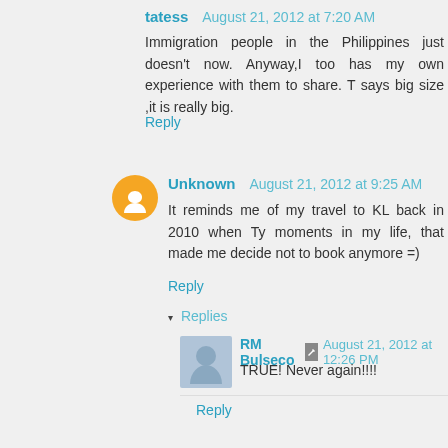tatess   August 21, 2012 at 7:20 AM
Immigration people in the Philippines just doesn't now. Anyway,I too has my own experience with them to share. T says big size ,it is really big.
Reply
Unknown   August 21, 2012 at 9:25 AM
It reminds me of my travel to KL back in 2010 when Ty moments in my life, that made me decide not to book anymore =)
Reply
▾ Replies
RM Bulseco   August 21, 2012 at 12:26 PM
TRUE! Never again!!!!
Reply